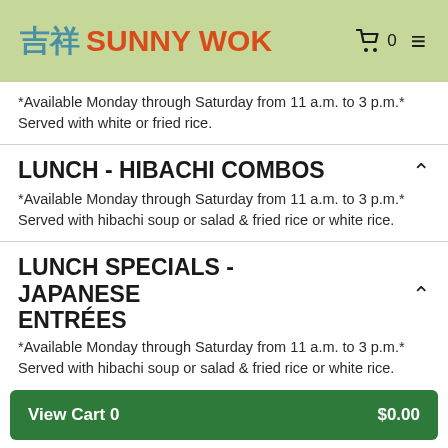吉祥 SUNNY WOK
*Available Monday through Saturday from 11 a.m. to 3 p.m.* Served with white or fried rice.
LUNCH - HIBACHI COMBOS
*Available Monday through Saturday from 11 a.m. to 3 p.m.* Served with hibachi soup or salad & fried rice or white rice.
LUNCH SPECIALS - JAPANESE ENTRÉES
*Available Monday through Saturday from 11 a.m. to 3 p.m.* Served with hibachi soup or salad & fried rice or white rice.
View Cart 0  $0.00